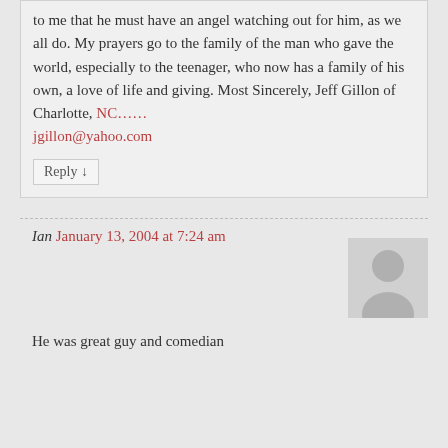to me that he must have an angel watching out for him, as we all do. My prayers go to the family of the man who gave the world, especially to the teenager, who now has a family of his own, a love of life and giving. Most Sincerely, Jeff Gillon of Charlotte, NC…… jgillon@yahoo.com
Reply ↓
Ian January 13, 2004 at 7:24 am
[Figure (illustration): Generic user avatar placeholder image showing silhouette of a person]
He was great guy and comedian